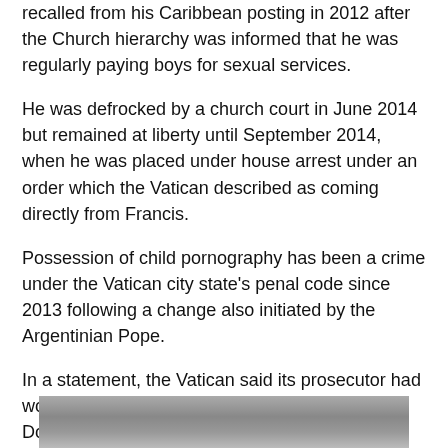recalled from his Caribbean posting in 2012 after the Church hierarchy was informed that he was regularly paying boys for sexual services.
He was defrocked by a church court in June 2014 but remained at liberty until September 2014, when he was placed under house arrest under an order which the Vatican described as coming directly from Francis.
Possession of child pornography has been a crime under the Vatican city state's penal code since 2013 following a change also initiated by the Argentinian Pope.
In a statement, the Vatican said its prosecutor had worked in collaboration with authorities in the Dominican Republic, who failed in their attempts to have Wesolowski extradited to face trial there.
Dominican authorities have said they have identified at least four alleged victims of the papal envoy.
[Figure (photo): Partial photo strip visible at bottom of page]